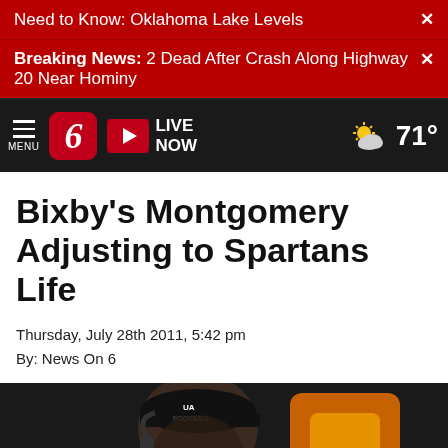Need to Know: Oklahoma Lake Levels
Breaking News: 2 Dead After Crash Along Highway 20 Near Hominy
[Figure (screenshot): News On 6 navigation bar with logo '6', LIVE NOW button, menu icon, and weather showing partly cloudy 71 degrees]
Bixby's Montgomery Adjusting to Spartans Life
Thursday, July 28th 2011, 5:42 pm
By: News On 6
[Figure (photo): A football coach wearing a black Under Armour Football cap and headset, looking to the side, with a blurred orange and yellow logo in the background]